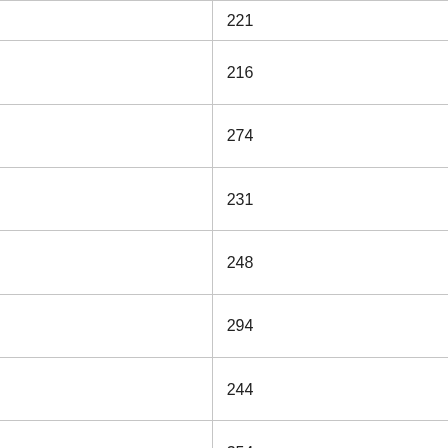| Range | Status | Count | Size |
| --- | --- | --- | --- |
| 172999 | archived | 221 | 13G |
| 173000-173499 | Done, archived | 216 | 11G |
| 173500-173999 | Done, archived | 274 | 24G |
| 174000-174499 | Done, archived | 231 | 7.9G |
| 174500-174999 | Done, archived | 248 | 23G |
| 175000-175499 | Done, archived | 294 | 18G |
| 175500-175999 | Done, archived | 244 | 18G |
| 176000-176499 | Done, archived | 354 | 34G |
| 176500-176999 | Done, archived | 390 | 23G |